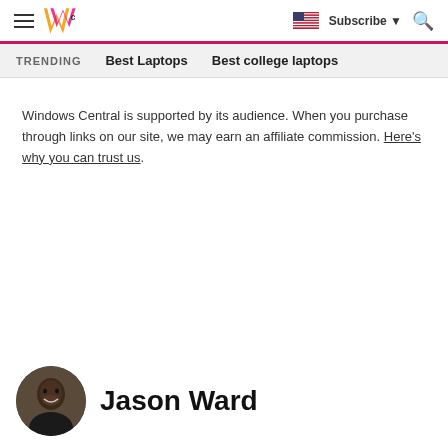Windows Central — Subscribe | Search
TRENDING   Best Laptops   Best college laptops
Windows Central is supported by its audience. When you purchase through links on our site, we may earn an affiliate commission. Here's why you can trust us.
Jason Ward